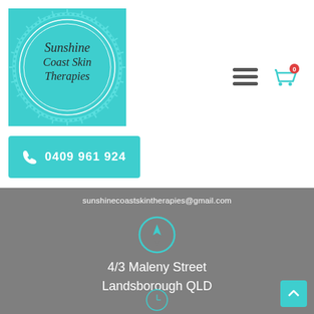[Figure (logo): Sunshine Coast Skin Therapies circular teal badge logo]
0409 961 924
[Figure (other): Hamburger menu icon and shopping cart icon with badge 0]
sunshinecoastskintherapies@gmail.com
[Figure (other): Teal compass/navigation circle icon]
4/3 Maleny Street
Landsborough QLD
[Figure (other): Teal clock circle icon (partially visible)]
[Figure (other): Back to top teal button with up arrow]